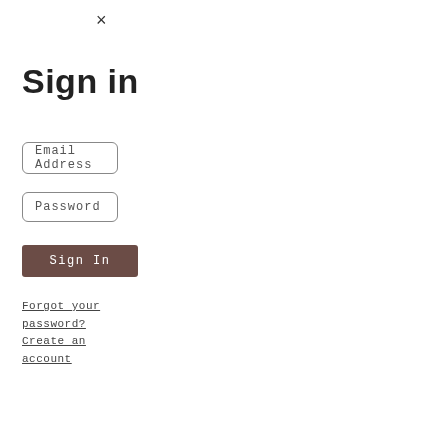×
Sign in
Email Address
Password
Sign In
Forgot your password?
Create an account